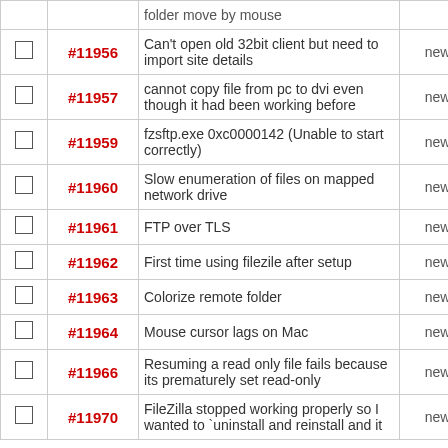|  | # | Description | Status |  |
| --- | --- | --- | --- | --- |
| ☐ | #11956 | Can't open old 32bit client but need to import site details | new |  |
| ☐ | #11957 | cannot copy file from pc to dvi even though it had been working before | new |  |
| ☐ | #11959 | fzsftp.exe 0xc0000142 (Unable to start correctly) | new |  |
| ☐ | #11960 | Slow enumeration of files on mapped network drive | new |  |
| ☐ | #11961 | FTP over TLS | new |  |
| ☐ | #11962 | First time using filezile after setup | new |  |
| ☐ | #11963 | Colorize remote folder | new |  |
| ☐ | #11964 | Mouse cursor lags on Mac | new |  |
| ☐ | #11966 | Resuming a read only file fails because its prematurely set read-only | new |  |
| ☐ | #11970 | FileZilla stopped working properly so I wanted to `uninstall and reinstall and it | new |  |